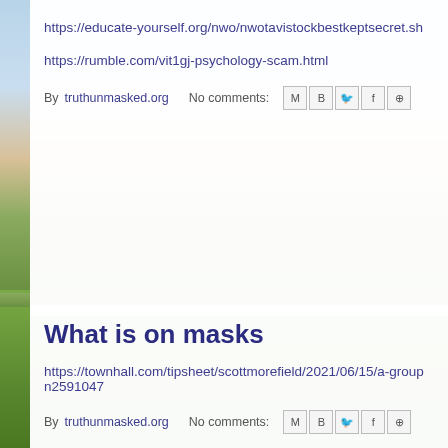https://educate-yourself.org/nwo/nwotavistockbestkeptsecret.sh
https://rumble.com/vit1gj-psychology-scam.html
By truthunmasked.org   No comments:
What is on masks
https://townhall.com/tipsheet/scottmorefield/2021/06/15/a-group n2591047
By truthunmasked.org   No comments:
Editing the Hebrew Bible
Religious people have been covering up "foul" la who copied the Hebrew Old Testament,used as t